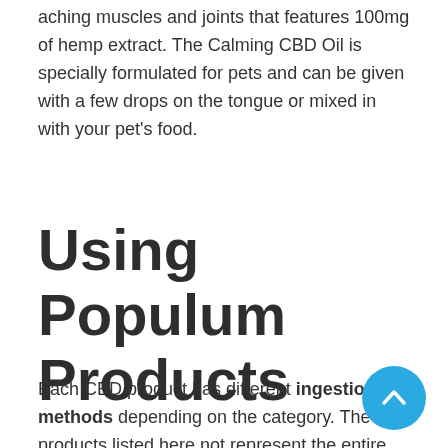aching muscles and joints that features 100mg of hemp extract. The Calming CBD Oil is specially formulated for pets and can be given with a few drops on the tongue or mixed in with your pet's food.
Using Populum Products
Each CBD product has different ingestion methods depending on the category. The products listed here not represent the entire Populum line, but the same ingestion methods apply to each category regardless of